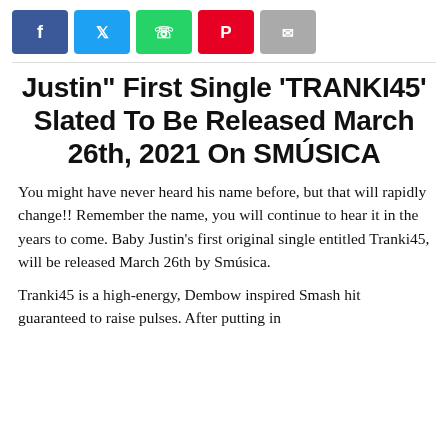[Figure (other): Social share buttons row: Facebook (blue), Twitter (light blue), WhatsApp (green), Pinterest (red), Email (grey)]
Justin” First Single ‘TRANKI45’ Slated To Be Released March 26th, 2021 On SMÚSICA
You might have never heard his name before, but that will rapidly change!! Remember the name, you will continue to hear it in the years to come. Baby Justin’s first original single entitled Tranki45, will be released March 26th by Smúsica.
Tranki45 is a high-energy, Dembow inspired Smash hit guaranteed to raise pulses. After putting in